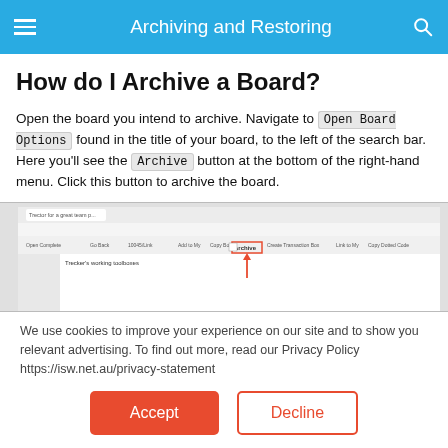Archiving and Restoring
How do I Archive a Board?
Open the board you intend to archive. Navigate to Open Board Options found in the title of your board, to the left of the search bar. Here you'll see the Archive button at the bottom of the right-hand menu. Click this button to archive the board.
[Figure (screenshot): Screenshot of a web application interface showing a browser toolbar with an 'Archive' button highlighted in a red rectangle with a red arrow pointing to it.]
We use cookies to improve your experience on our site and to show you relevant advertising. To find out more, read our Privacy Policy https://isw.net.au/privacy-statement